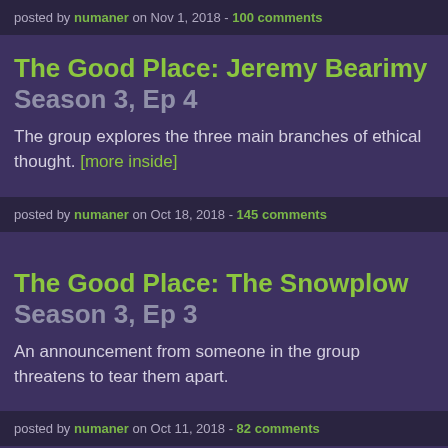posted by numaner on Nov 1, 2018 - 100 comments
The Good Place: Jeremy Bearimy Season 3, Ep 4
The group explores the three main branches of ethical thought. [more inside]
posted by numaner on Oct 18, 2018 - 145 comments
The Good Place: The Snowplow Season 3, Ep 3
An announcement from someone in the group threatens to tear them apart.
posted by numaner on Oct 11, 2018 - 82 comments